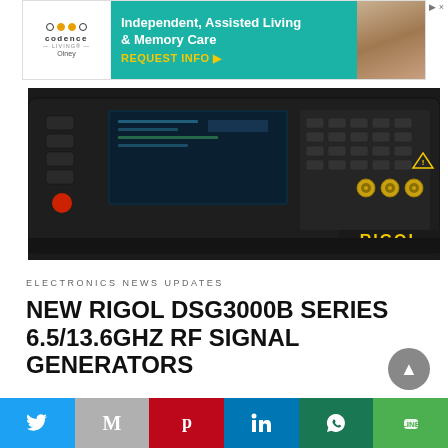[Figure (illustration): Codence Living advertisement banner for Independent, Assisted Living & Memory Care in Olney with teal background and photo of elderly couple]
[Figure (photo): RIGOL DSG3000B RF Signal Generator front panel showing display screen, buttons, and BNC connectors with RIGOL logo in bottom right]
ELECTRONICS NEWS UPDATES
NEW RIGOL DSG3000B SERIES 6.5/13.6GHZ RF SIGNAL GENERATORS
The DSG3000B RF Signal Generator series simplifies high power setup since an external amplifier is…
[Figure (infographic): Social sharing bar with Twitter, Gmail, Pinterest, LinkedIn, WhatsApp, and Line buttons]